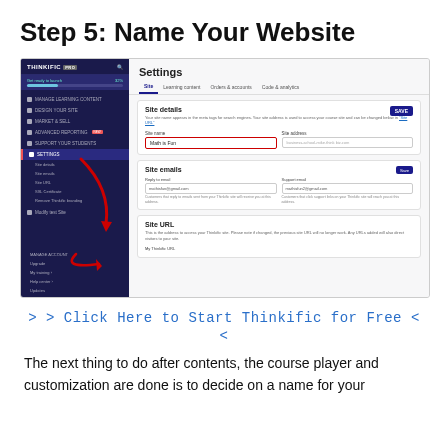Step 5: Name Your Website
[Figure (screenshot): Screenshot of Thinkific platform showing the Settings page with Site details panel open. The left sidebar shows navigation including SETTINGS highlighted. The main area shows Site details with a Site name field containing 'Math is Fun' highlighted with a red border and arrow annotation. Below are Site emails and Site URL sections.]
> > Click Here to Start Thinkific for Free < <
The next thing to do after contents, the course player and customization are done is to decide on a name for your